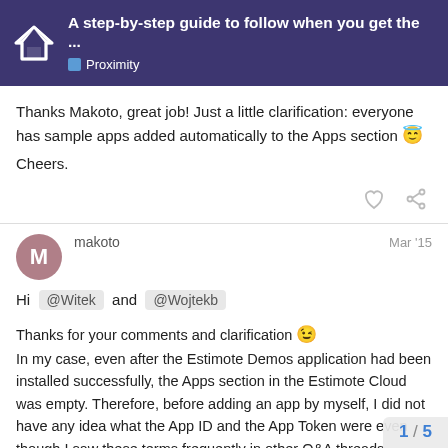A step-by-step guide to follow when you get the ... | Proximity
Thanks Makoto, great job! Just a little clarification: everyone has sample apps added automatically to the Apps section 😊 Cheers.
makoto  Mar '15
Hi @Witek and @Wojtekb

Thanks for your comments and clarification 😉
In my case, even after the Estimote Demos application had been installed successfully, the Apps section in the Estimote Cloud was empty. Therefore, before adding an app by myself, I did not have any idea what the App ID and the App Token were even though I saw these terms frequently in other Q&A threads.
1 / 5